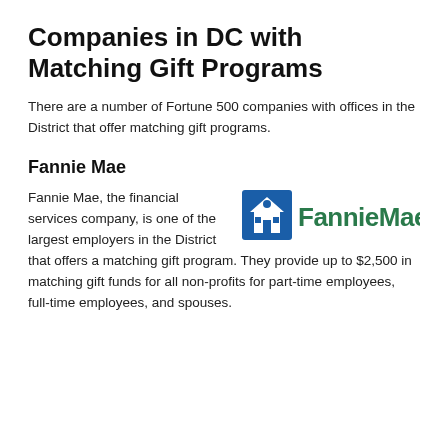Companies in DC with Matching Gift Programs
There are a number of Fortune 500 companies with offices in the District that offer matching gift programs.
Fannie Mae
[Figure (logo): Fannie Mae logo: blue square with white house/person icon on left, green bold text 'FannieMae.' on right]
Fannie Mae, the financial services company, is one of the largest employers in the District that offers a matching gift program. They provide up to $2,500 in matching gift funds for all non-profits for part-time employees, full-time employees, and spouses.